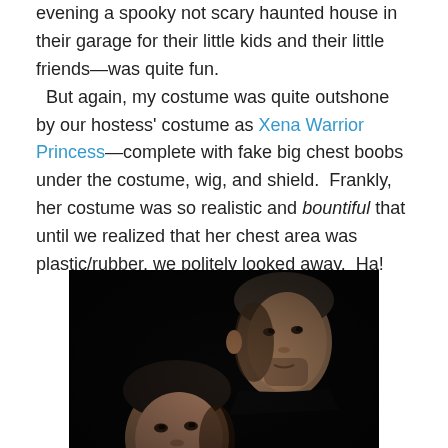evening a spooky not scary haunted house in their garage for their little kids and their little friends—was quite fun.   But again, my costume was quite outshone by our hostess' costume as Xena Warrior Princess—complete with fake big chest boobs under the costume, wig, and shield.  Frankly, her costume was so realistic and bountiful that until we realized that her chest area was plastic/rubber, we politely looked away.  Ha!
[Figure (photo): Dark photograph showing two men's faces against a black background; one face appears in the upper right and another in the lower left, both facing slightly different directions.]